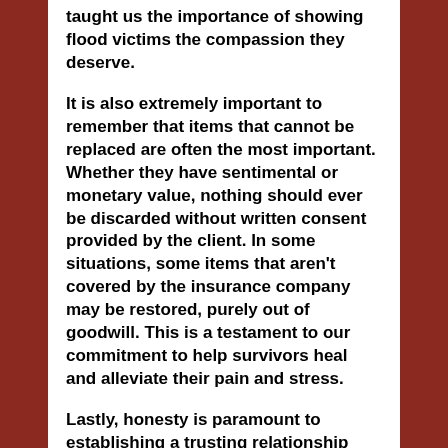taught us the importance of showing flood victims the compassion they deserve.
It is also extremely important to remember that items that cannot be replaced are often the most important. Whether they have sentimental or monetary value, nothing should ever be discarded without written consent provided by the client. In some situations, some items that aren't covered by the insurance company may be restored, purely out of goodwill. This is a testament to our commitment to help survivors heal and alleviate their pain and stress.
Lastly, honesty is paramount to establishing a trusting relationship with clients. No false promises are ever made. Setting realistic...